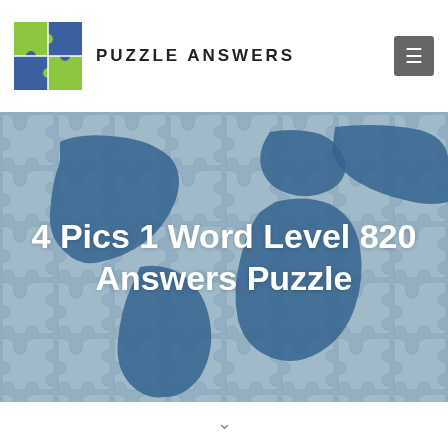[Figure (logo): Puzzle piece logo with green and blue interlocking puzzle pieces on a white/dark background]
PUZZLE ANSWERS
[Figure (illustration): World map made of puzzle pieces background image in shades of steel blue and light blue-grey, overlaid with bold white text reading '4 Pics 1 Word Level 820 Answers Puzzle']
4 Pics 1 Word Level 820 Answers Puzzle